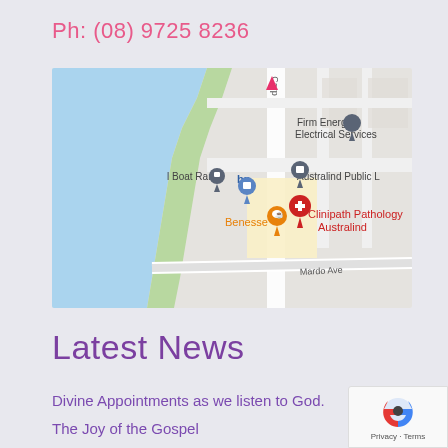Ph: (08) 9725 8236
[Figure (map): Google Maps screenshot showing Australind area with markers for Firm Energy Electrical Services, Boat Ramp, bp fuel station, Benesse, Australind Public Library, and Clinipath Pathology Australind. Mardo Ave visible at bottom.]
Latest News
Divine Appointments as we listen to God.
The Joy of the Gospel